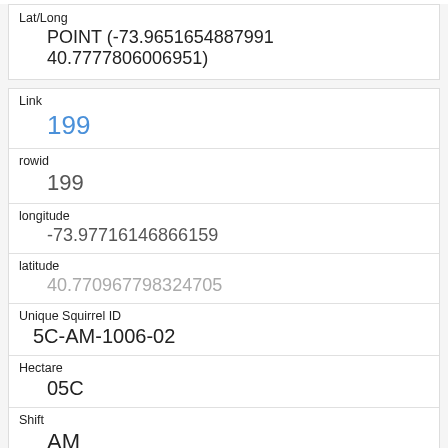| Field | Value |
| --- | --- |
| Lat/Long | POINT (-73.9651654887991 40.7777806006951) |
| Link | 199 |
| rowid | 199 |
| longitude | -73.97716146866159 |
| latitude | 40.770967798324705 |
| Unique Squirrel ID | 5C-AM-1006-02 |
| Hectare | 05C |
| Shift | AM |
| Date | 10062018 |
| Hectare Squirrel Number |  |